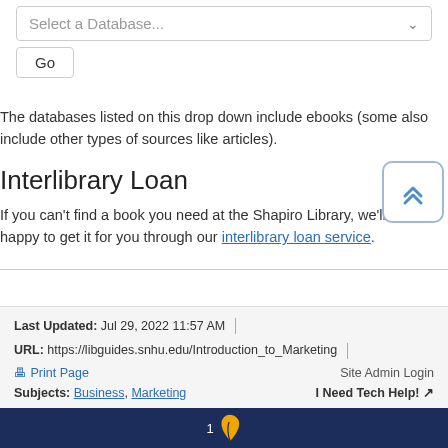[Figure (screenshot): Dropdown selector labeled 'Select a Database...' with a chevron arrow]
[Figure (screenshot): Go button]
The databases listed on this drop down include ebooks (some also include other types of sources like articles).
Interlibrary Loan
If you can't find a book you need at the Shapiro Library, we'll be happy to get it for you through our interlibrary loan service.
Last Updated: Jul 29, 2022 11:57 AM | URL: https://libguides.snhu.edu/Introduction_to_Marketing | Print Page | Site Admin Login | Subjects: Business, Marketing | I Need Tech Help!